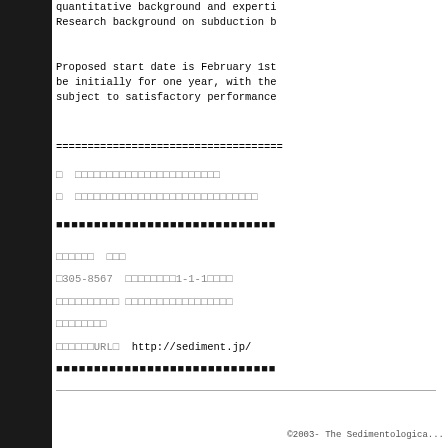quantitative background and expertise. Research background on subduction b
Proposed start date is February 1st, be initially for one year, with the subject to satisfactory performance
===================================
[redacted lines]
[redacted bold block]
[Japanese text block with address and URL: http://sediment.jp/]
[redacted bold block]
©2003- The Sedimentologica...